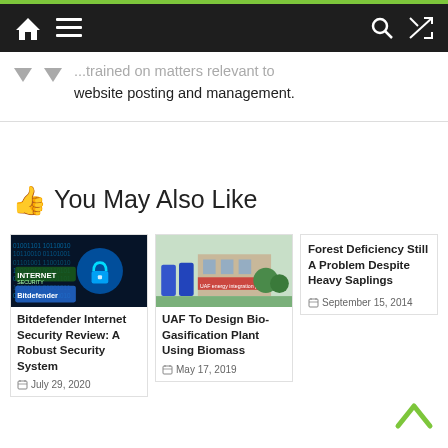Navigation bar with home, menu, search, and shuffle icons
...trained on matters relevant to website posting and management.
👍 You May Also Like
[Figure (screenshot): Bitdefender Internet Security product image with padlock and binary code]
Bitdefender Internet Security Review: A Robust Security System
July 29, 2020
[Figure (photo): UAF Bio-Gasification facility building with blue tanks]
UAF To Design Bio-Gasification Plant Using Biomass
May 17, 2019
Forest Deficiency Still A Problem Despite Heavy Saplings
September 15, 2014